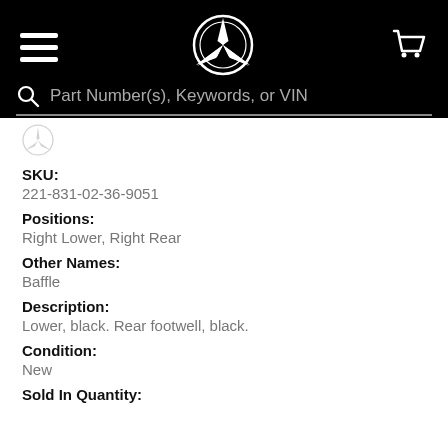Mercedes-Benz parts search header with hamburger menu, star logo, and cart icon
Part Number(s), Keywords, or VIN
[Figure (logo): Mercedes-Benz three-pointed star logo (small, partial)]
SKU:
221-831-02-36-9051
Positions:
Right Lower, Right Rear
Other Names:
Baffle
Description:
Lower, black. Rear footwell, black.
Condition:
New
Sold In Quantity: